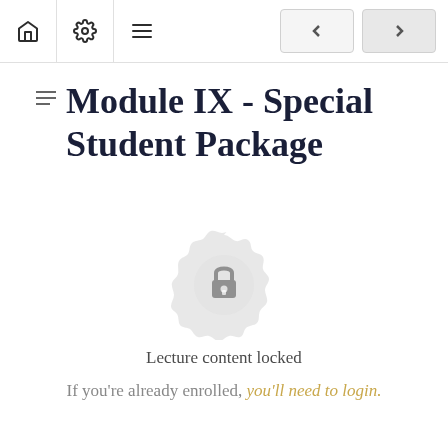Navigation bar with home, settings, menu icons and back/forward buttons
Module IX - Special Student Package
[Figure (illustration): Circular decorative medallion with a lock icon in the center, indicating locked content]
Lecture content locked
If you're already enrolled, you'll need to login.